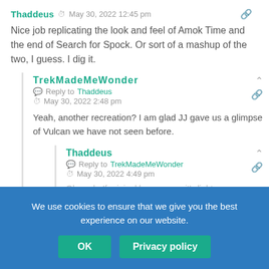Thaddeus  ⏱  May 30, 2022 12:45 pm
Nice job replicating the look and feel of Amok Time and the end of Search for Spock. Or sort of a mashup of the two, I guess. I dig it.
TrekMadeMeWonder
Reply to  Thaddeus
May 30, 2022 2:48 pm
Yeah, another recreation? I am glad JJ gave us a glimpse of Vulcan we have not seen before.
Thaddeus
Reply to  TrekMadeMeWonder
May 30, 2022 4:49 pm
We use cookies to ensure that we give you the best experience on our website.
OK   Privacy policy